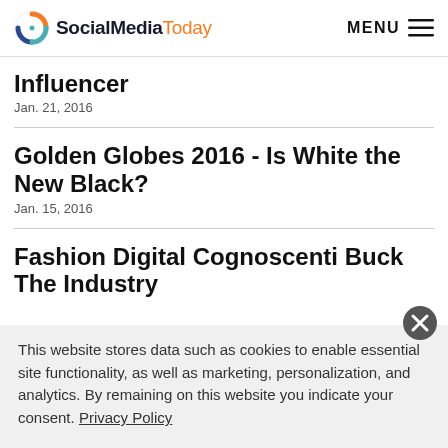SocialMediaToday — MENU
Influencer
Jan. 21, 2016
Golden Globes 2016 - Is White the New Black?
Jan. 15, 2016
Fashion Digital Cognoscenti Buck The Industry
This website stores data such as cookies to enable essential site functionality, as well as marketing, personalization, and analytics. By remaining on this website you indicate your consent. Privacy Policy